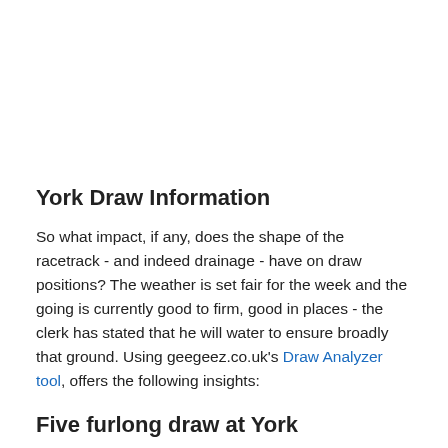York Draw Information
So what impact, if any, does the shape of the racetrack - and indeed drainage - have on draw positions? The weather is set fair for the week and the going is currently good to firm, good in places - the clerk has stated that he will water to ensure broadly that ground. Using geegeez.co.uk's Draw Analyzer tool, offers the following insights:
Five furlong draw at York
Looking only at bigger field handicaps on good to soft